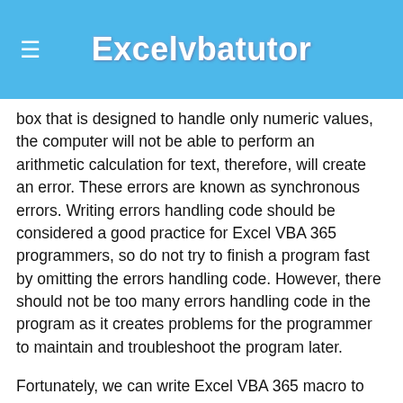Excelvbatutor
box that is designed to handle only numeric values, the computer will not be able to perform an arithmetic calculation for text, therefore, will create an error. These errors are known as synchronous errors. Writing errors handling code should be considered a good practice for Excel VBA 365 programmers, so do not try to finish a program fast by omitting the errors handling code. However, there should not be too many errors handling code in the program as it creates problems for the programmer to maintain and troubleshoot the program later.
Fortunately, we can write Excel VBA 365 macro to handle those errors efficiently.